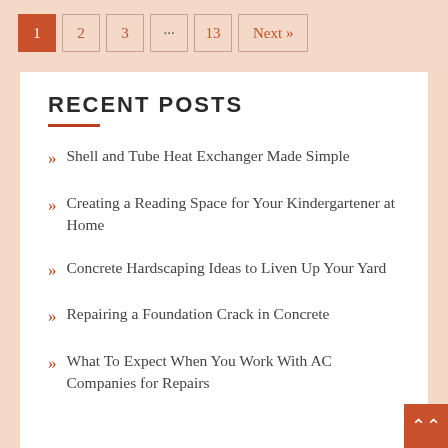1  2  3  ...  13  Next »
RECENT POSTS
Shell and Tube Heat Exchanger Made Simple
Creating a Reading Space for Your Kindergartener at Home
Concrete Hardscaping Ideas to Liven Up Your Yard
Repairing a Foundation Crack in Concrete
What To Expect When You Work With AC Companies for Repairs